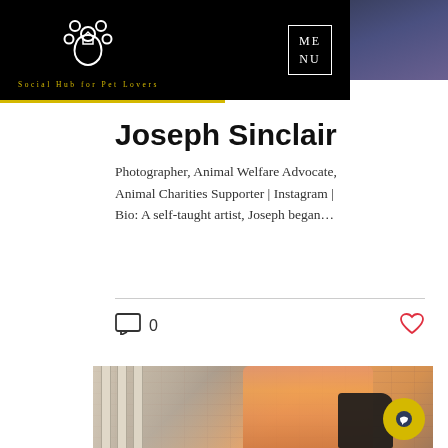Social Hub for Pet Lovers | MENU
Joseph Sinclair
Photographer, Animal Welfare Advocate, Animal Charities Supporter | Instagram | Bio: A self-taught artist, Joseph began…
0
[Figure (photo): Woman in orange outfit sitting on staircase with a black dog, brick wall background]